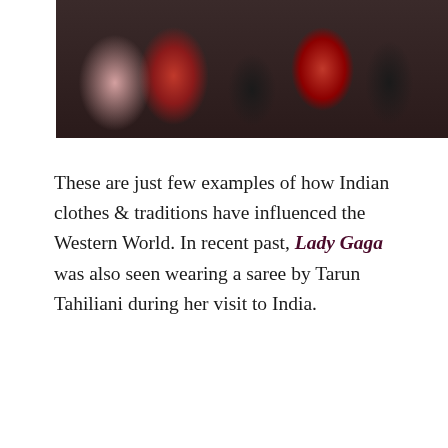[Figure (photo): Group photo of people at an event, wearing colorful Indian and Western clothing including red/orange sarees and black outfits]
These are just few examples of how Indian clothes & traditions have influenced the Western World. In recent past, Lady Gaga was also seen wearing a saree by Tarun Tahiliani during her visit to India.
[Figure (photo): Lady Gaga wearing a white/silver saree by Tarun Tahiliani, standing outdoors in front of green hedges with long blonde hair]